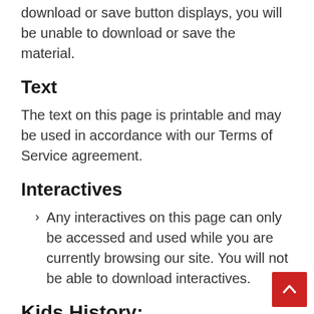download or save button displays, you will be unable to download or save the material.
Text
The text on this page is printable and may be used in accordance with our Terms of Service agreement.
Interactives
Any interactives on this page can only be accessed and used while you are currently browsing our site. You will not be able to download interactives.
Kids History: